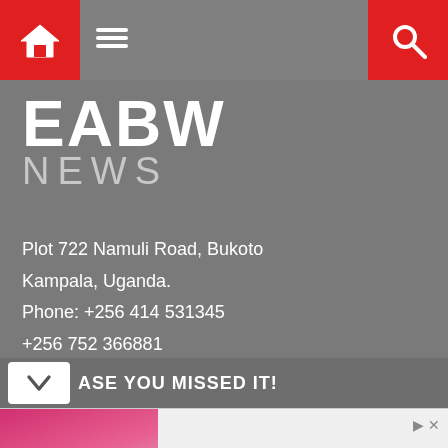EABW NEWS - Navigation header with home icon, hamburger menu, and search icon
EABW NEWS
Plot 722 Namuli Road, Bukoto
Kampala, Uganda.
Phone: +256 414 531345
+256 752 366881
Email: info@busiweek.com
ivudria@busiweek.com
IN CASE YOU MISSED IT!
[Figure (infographic): Advertisement banner: Make an impact with insights. Conversational Assistant for Data & Insights. Sense Forth. Open button. New York, London or Singapore text overlay on image.]